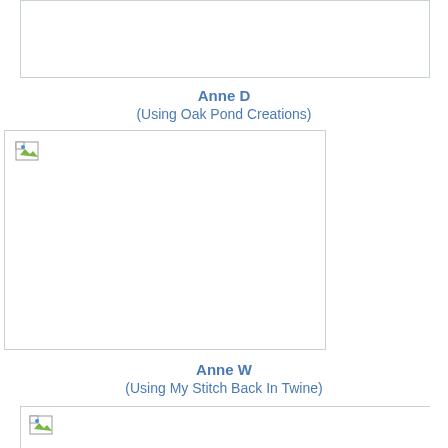[Figure (photo): Image placeholder at top of page (partially visible, cropped)]
Anne D
(Using Oak Pond Creations)
[Figure (photo): Image placeholder for Anne D's work using Oak Pond Creations]
Anne W
(Using My Stitch Back In Twine)
[Figure (photo): Image placeholder for Anne W's work using My Stitch Back In Twine (partially visible)]